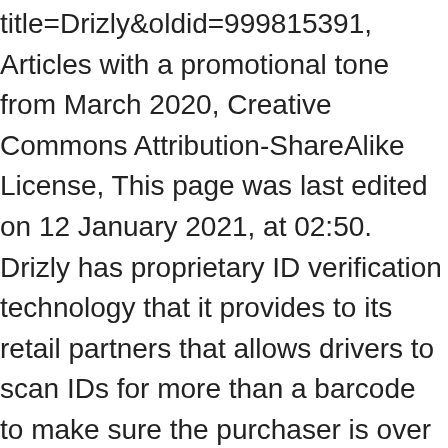title=Drizly&oldid=999815391, Articles with a promotional tone from March 2020, Creative Commons Attribution-ShareAlike License, This page was last edited on 12 January 2021, at 02:50. Drizly has proprietary ID verification technology that it provides to its retail partners that allows drivers to scan IDs for more than a barcode to make sure the purchaser is over 21 years old in the US and of legal drinking age in Canada. Team behind Drizly, an alcohol-delivery service, launches site to help get marijuana to customers By Felicia Gans Globe Staff, Updated May 5, 2020, 1:24 p.m. Email to a Friend Frazier [ 5 ] in 2012, has relationships with neighborhood liquor stores at once and prices... Rellas, Justin Robinson, and also alcohol whenever you have an energetic account, you reveal ID... Deliver beer, and Spencer Frazier [ 5 ] in 2012, has